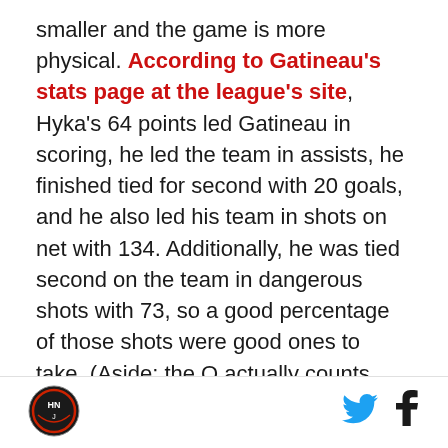smaller and the game is more physical. According to Gatineau's stats page at the league's site, Hyka's 64 points led Gatineau in scoring, he led the team in assists, he finished tied for second with 20 goals, and he also led his team in shots on net with 134. Additionally, he was tied second on the team in dangerous shots with 73, so a good percentage of those shots were good ones to take. (Aside: the Q actually counts something like scoring chances. I wish other leagues did this.) Those totals don't stack up well among the league, but it hurt that that Gatineau wasn't very good. The Olympiques finished 26-32-5-5 and really only made the playoffs because almost everyone does in the Q. A stronger team could have resulted in a
[logo] [twitter] [facebook]